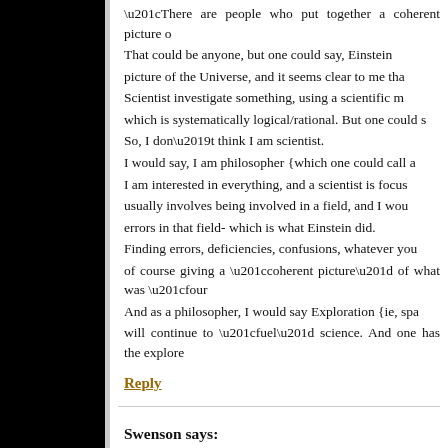“There are people who put together a coherent picture o… That could be anyone, but one could say, Einstein … picture of the Universe, and it seems clear to me tha… Scientist investigate something, using a scientific m… which is systematically logical/rational. But one could s… So, I don’t think I am scientist. I would say, I am philosopher {which one could call a … I am interested in everything, and a scientist is focus… usually involves being involved in a field, and I wou… errors in that field- which is what Einstein did. Finding errors, deficiencies, confusions, whatever you… of course giving a “coherent picture” of what was “four… And as a philosopher, I would say Exploration {ie, spa… will continue to “fuel” science. And one has the explore…
Reply
Swenson says: